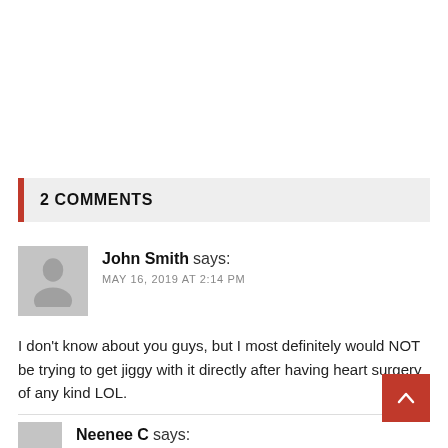2 COMMENTS
John Smith says:
MAY 16, 2019 AT 2:14 PM
I don't know about you guys, but I most definitely would NOT be trying to get jiggy with it directly after having heart surgery of any kind LOL.
Neenee C says: